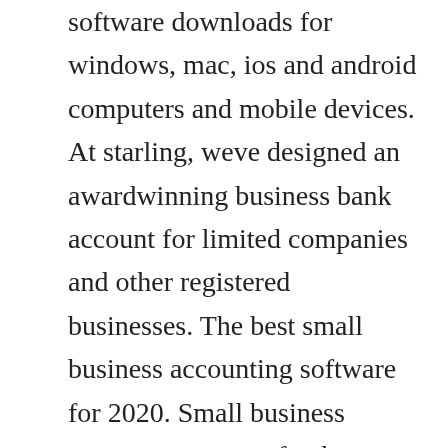software downloads for windows, mac, ios and android computers and mobile devices. At starling, weve designed an awardwinning business bank account for limited companies and other registered businesses. The best small business accounting software for 2020. Small business owner, contractor, freelancer whatever your working life looks like, if your companys limited, theres a good chance your time is too. Best accounting software for uk small businesses 2019. You may be able to file them together if you have a private limited company that does. Taxcalc limited company